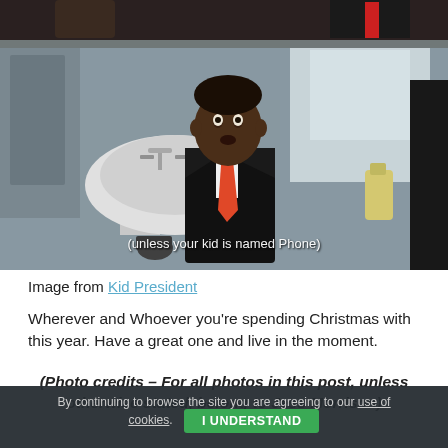[Figure (photo): A young boy dressed in a black suit with an orange/red tie stands in a bathroom near a sink, looking surprised at the camera. White handwritten-style subtitle text reads '(unless your kid is named Phone)']
Image from Kid President
Wherever and Whoever you're spending Christmas with this year. Have a great one and live in the moment.
(Photo credits – For all photos in this post, unless otherwise stated, belong to Jess Morrison)
By continuing to browse the site you are agreeing to our use of cookies. I UNDERSTAND